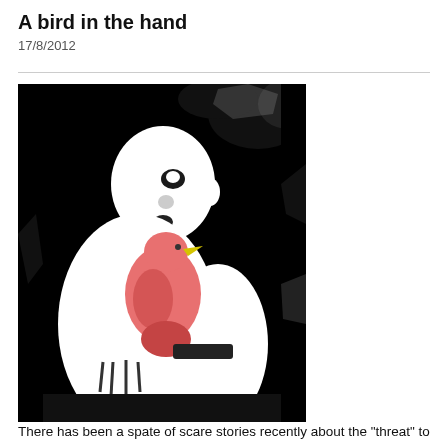A bird in the hand
17/8/2012
[Figure (illustration): High-contrast black and white illustration of a child holding a pink bird (flamingo-like) up to their face, with a yellow beak visible. The image has a stark, graphic art style with bold black and white areas and the bird rendered in pink/red tones.]
There has been a spate of scare stories recently about the "threat" to